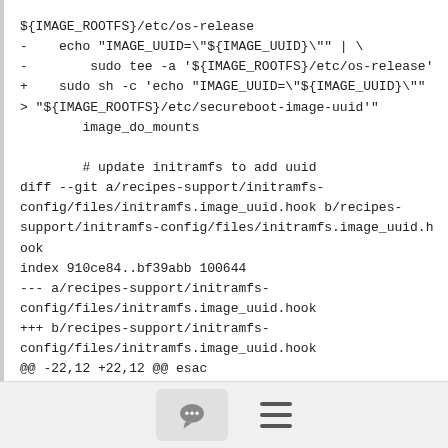${IMAGE_ROOTFS}/etc/os-release
-    echo "IMAGE_UUID=\"${IMAGE_UUID}\"" | \
-        sudo tee -a '${IMAGE_ROOTFS}/etc/os-release'
+    sudo sh -c 'echo "IMAGE_UUID=\"${IMAGE_UUID}\""
> "${IMAGE_ROOTFS}/etc/secureboot-image-uuid'"
        image_do_mounts

        # update initramfs to add uuid
diff --git a/recipes-support/initramfs-config/files/initramfs.image_uuid.hook b/recipes-support/initramfs-config/files/initramfs.image_uuid.hook
index 910ce84..bf39abb 100644
--- a/recipes-support/initramfs-config/files/initramfs.image_uuid.hook
+++ b/recipes-support/initramfs-config/files/initramfs.image_uuid.hook
@@ -22,12 +22,12 @@ esac
 . /usr/share/initramfs-tools/scripts/functions
 . /usr/share/initramfs-tools/hook-functions
[Figure (other): Footer bar with comment/chat bubble icon button and hamburger menu icon]